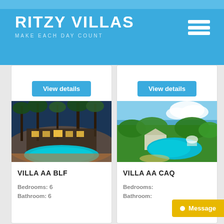RITZY VILLAS — MAKE EACH DAY COUNT
View details
View details
[Figure (photo): Night-time pool photo with palm trees and villa lights]
VILLA AA BLF
Bedrooms: 6
Bathroom: 6
[Figure (photo): Aerial daytime photo of villa pool with ocean view and gazebo]
VILLA AA CAQ
Bedrooms:
Bathroom: